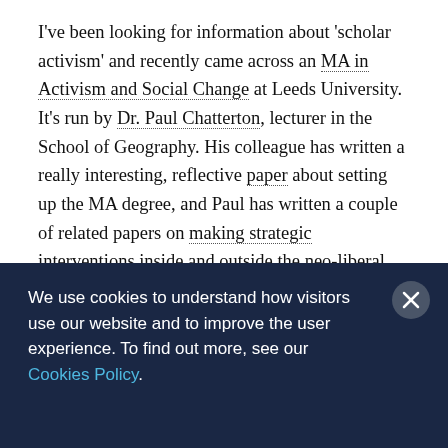I've been looking for information about 'scholar activism' and recently came across an MA in Activism and Social Change at Leeds University. It's run by Dr. Paul Chatterton, lecturer in the School of Geography. His colleague has written a really interesting, reflective paper about setting up the MA degree, and Paul has written a couple of related papers on making strategic interventions inside and outside the neo-liberal university, and about
We use cookies to understand how visitors use our website and to improve the user experience. To find out more, see our Cookies Policy.